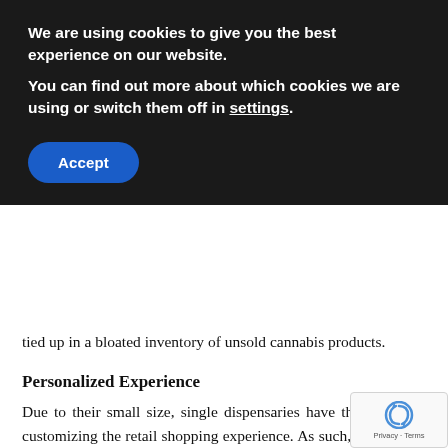We are using cookies to give you the best experience on our website.
You can find out more about which cookies we are using or switch them off in settings.
Accept
tied up in a bloated inventory of unsold cannabis products.
Personalized Experience
Due to their small size, single dispensaries have the luxury of customizing the retail shopping experience. As such, without the added pressures of corporate oversight, small operators have the creative freedom to make for highly memorable shopping experiences within their stores. In going the extra mile on things like interior design, small dispensaries can help customer retention and benefit from word-of- marketing.
[Figure (other): reCAPTCHA widget with logo and Privacy - Terms text]